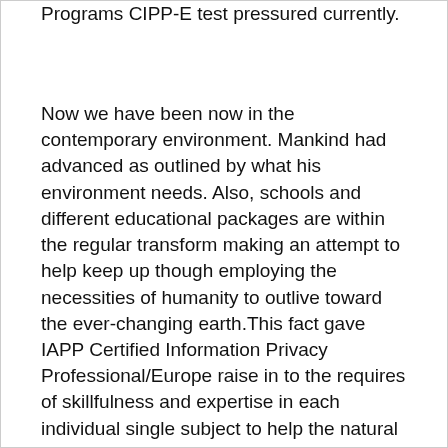Programs CIPP-E test pressured currently.
Now we have been now in the contemporary environment. Mankind had advanced as outlined by what his environment needs. Also, schools and different educational packages are within the regular transform making an attempt to help keep up though employing the necessities of humanity to outlive toward the ever-changing earth.This fact gave IAPP Certified Information Privacy Professional/Europe raise in to the requires of skillfulness and expertise in each individual single subject to help the natural environment human beings professional proven. Mankind has devised a software to meet the society's starvation for expert to assist keep its fast-paced world functioning. That may be called the before long immediately after IAPP Certification Programs CIPP-E Exam Certified Information